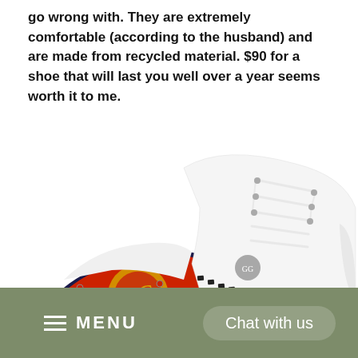go wrong with. They are extremely comfortable (according to the husband) and are made from recycled material. $90 for a shoe that will last you well over a year seems worth it to me.
[Figure (photo): Two white G/FORE golf shoes shown side by side — one displaying the red and gold branded sole with cleats, the other showing the white leather upper with navy trim, laces, and black jewel accents.]
≡ MENU   Chat with us